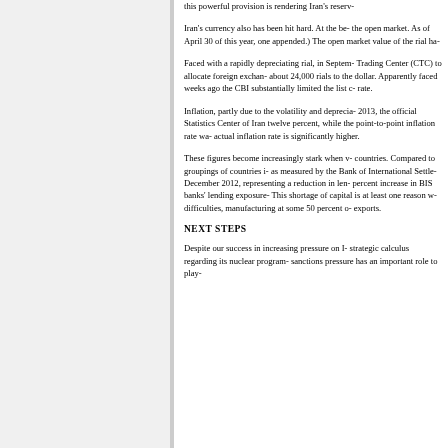this powerful provision is rendering Iran's reserve...
Iran's currency also has been hit hard. At the be... the open market. As of April 30 of this year, one... appended.) The open market value of the rial ha...
Faced with a rapidly depreciating rial, in Septem... Trading Center (CTC) to allocate foreign exchar... about 24,000 rials to the dollar. Apparently faced... weeks ago the CBI substantially limited the list c... rate.
Inflation, partly due to the volatility and deprecia... 2013, the official Statistics Center of Iran twelve... percent, while the point-to-point inflation rate wa... actual inflation rate is significantly higher.
These figures become increasingly stark when v... countries. Compared to groupings of countries i... as measured by the Bank of International Settle... December 2012, representing a reduction in len... percent increase in BIS banks' lending exposure... This shortage of capital is at least one reason w... difficulties, manufacturing at some 50 percent o... exports.
NEXT STEPS
Despite our success in increasing pressure on I... strategic calculus regarding its nuclear program... sanctions pressure has an important role to play...